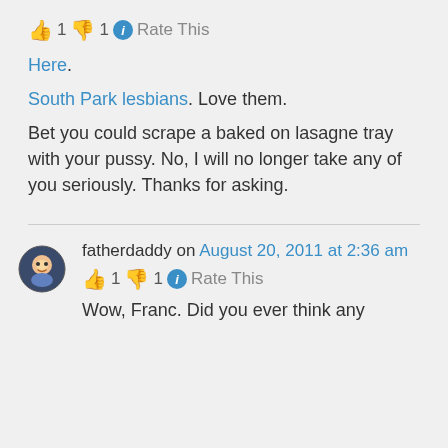👍 1 👎 1 ℹ Rate This
Here.
South Park lesbians. Love them.
Bet you could scrape a baked on lasagne tray with your pussy. No, I will no longer take any of you seriously. Thanks for asking.
fatherdaddy on August 20, 2011 at 2:36 am
👍 1 👎 1 ℹ Rate This
Wow, Franc. Did you ever think any